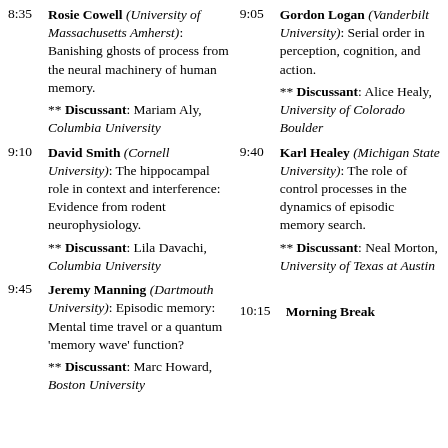8:35 Rosie Cowell (University of Massachusetts Amherst): Banishing ghosts of process from the neural machinery of human memory.
** Discussant: Mariam Aly, Columbia University
9:10 David Smith (Cornell University): The hippocampal role in context and interference: Evidence from rodent neurophysiology.
** Discussant: Lila Davachi, Columbia University
9:45 Jeremy Manning (Dartmouth University): Episodic memory: Mental time travel or a quantum 'memory wave' function?
** Discussant: Marc Howard, Boston University
9:05 Gordon Logan (Vanderbilt University): Serial order in perception, cognition, and action.
** Discussant: Alice Healy, University of Colorado Boulder
9:40 Karl Healey (Michigan State University): The role of control processes in the dynamics of episodic memory search.
** Discussant: Neal Morton, University of Texas at Austin
10:15 Morning Break